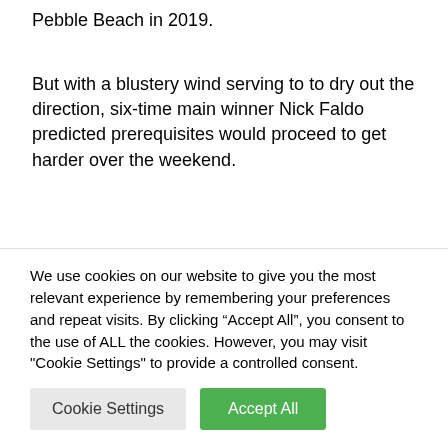Pebble Beach in 2019.
But with a blustery wind serving to to dry out the direction, six-time main winner Nick Faldo predicted prerequisites would proceed to get harder over the weekend.
“It really is nasty, gusty, blustery, and there are some really tough holes,” Faldo, who missed a playoff to Curtis Strange with...
We use cookies on our website to give you the most relevant experience by remembering your preferences and repeat visits. By clicking “Accept All”, you consent to the use of ALL the cookies. However, you may visit "Cookie Settings" to provide a controlled consent.